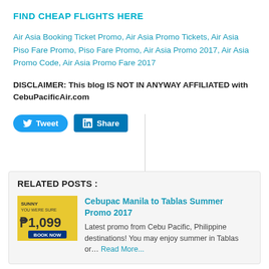FIND CHEAP FLIGHTS HERE
Air Asia Booking Ticket Promo, Air Asia Promo Tickets, Air Asia Piso Fare Promo, Piso Fare Promo, Air Asia Promo 2017, Air Asia Promo Code, Air Asia Promo Fare 2017
DISCLAIMER: This blog IS NOT IN ANYWAY AFFILIATED with CebuPacificAir.com
[Figure (other): Tweet and LinkedIn Share social media buttons]
RELATED POSTS :
[Figure (other): Thumbnail image for Cebupac promo showing yellow background with price 1,099]
Cebupac Manila to Tablas Summer Promo 2017
Latest promo from Cebu Pacific, Philippine destinations! You may enjoy summer in Tablas or… Read More...